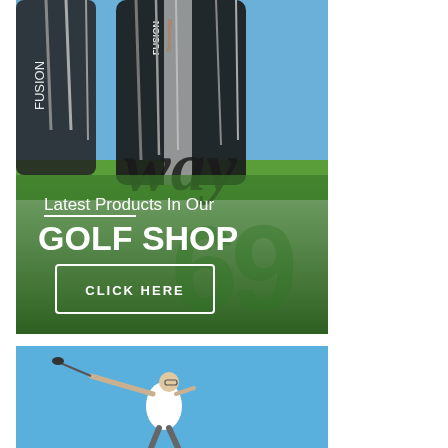[Figure (photo): Golf shop advertisement banner showing Callaway Fusion golf club bags lined up against a blue sky, with a green gradient overlay at the bottom. Text reads 'Latest Products In Our GOLF SHOP' with a 'CLICK HERE' button.]
[Figure (photo): Photo of a male golfer in a white shirt mid-swing against a bright blue sky.]